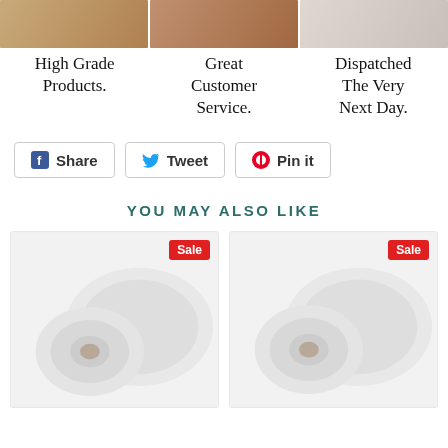[Figure (photo): Three product/lifestyle photos in a row at top]
High Grade Products.
Great Customer Service.
Dispatched The Very Next Day.
Share   Tweet   Pin it
YOU MAY ALSO LIKE
[Figure (photo): Roll of white fabric with Sale badge]
[Figure (photo): Roll of white fabric with Sale badge]